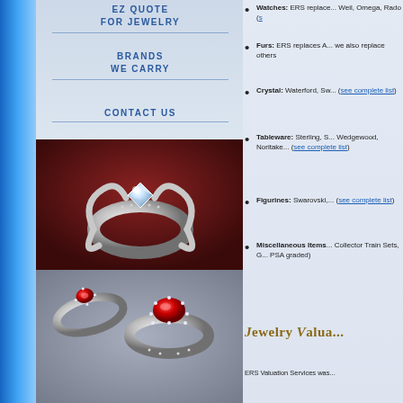[Figure (other): Left blue gradient sidebar]
EZ QUOTE FOR JEWELRY
BRANDS WE CARRY
CONTACT US
[Figure (photo): Two ornate jewelry rings - one with diamond center stone on dark red background, and two with ruby stones on grey background]
Watches: ERS replaces... Weil, Omega, Rado (see complete list)
Furs: ERS replaces A... we also replace others
Crystal: Waterford, Sw... (see complete list)
Tableware: Sterling, S... Wedgewood, Noritake... (see complete list)
Figurines: Swarovski,... (see complete list)
Miscellaneous Items... Collector Train Sets, G... PSA graded)
Jewelry Valua...
ERS Valuation Services was...